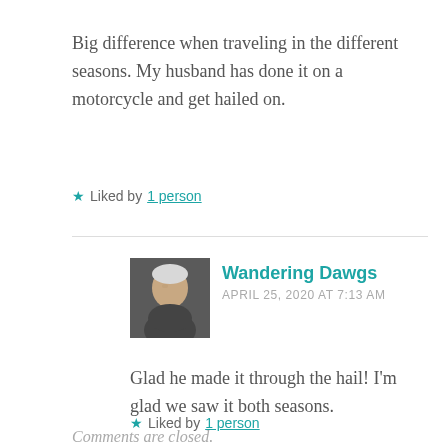Big difference when traveling in the different seasons. My husband has done it on a motorcycle and get hailed on.
★ Liked by 1 person
Wandering Dawgs
APRIL 25, 2020 AT 7:13 AM
Glad he made it through the hail! I'm glad we saw it both seasons.
★ Liked by 1 person
Comments are closed.